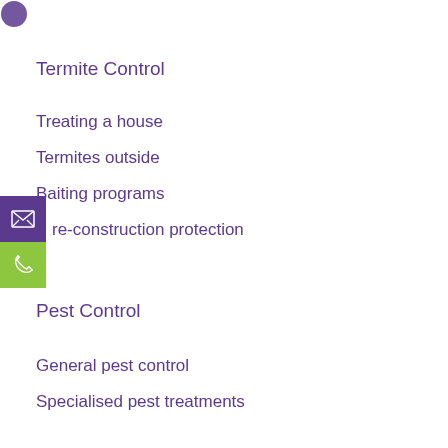[Figure (logo): Partial logo visible at top left corner]
Termite Control
Treating a house
Termites outside
Baiting programs
Pre-construction protection
[Figure (infographic): Purple email icon button on left edge]
[Figure (infographic): Green phone icon button on left edge]
Pest Control
General pest control
Specialised pest treatments